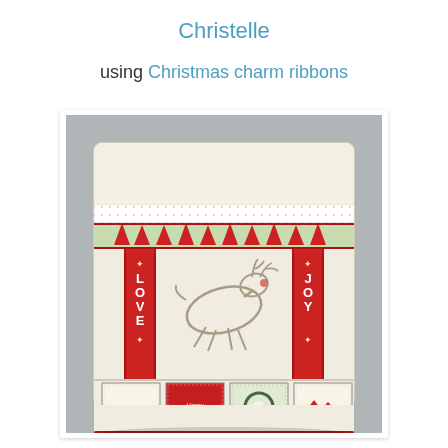Christelle
using Christmas charm ribbons
[Figure (photo): A handmade fabric book cover or pouch made from cream linen fabric, decorated with Christmas-themed ribbons. The ribbons feature Santa's sleigh and reindeer, Christmas trees, and decorative borders. The front panel shows vertical ribbons reading 'LOVE' and 'JOY' on either side of a large embroidered/printed reindeer, with a bottom row of Christmas postage stamp-style patches including 'NOEL', 'Happy Christmas', and holiday scenes. The item rests on a grey textured surface.]